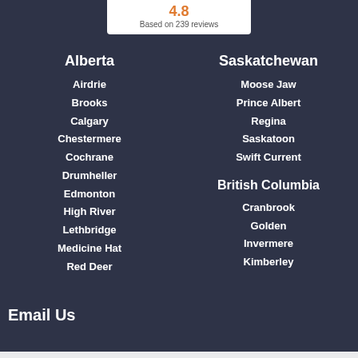4.8 Based on 239 reviews
Alberta
Airdrie
Brooks
Calgary
Chestermere
Cochrane
Drumheller
Edmonton
High River
Lethbridge
Medicine Hat
Red Deer
Saskatchewan
Moose Jaw
Prince Albert
Regina
Saskatoon
Swift Current
British Columbia
Cranbrook
Golden
Invermere
Kimberley
Email Us